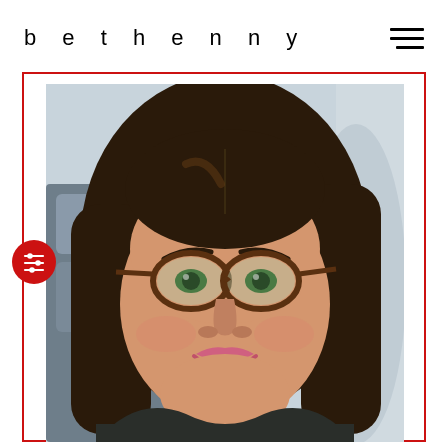bethenny
[Figure (photo): Selfie photo of a woman with long dark brown hair, wearing tortoiseshell cat-eye glasses and a dark top, smiling at the camera. She appears to be seated in what looks like a business class airplane seat.]
[Figure (infographic): Red circular badge with a settings/filter sliders icon in white, positioned on the left edge of the card border]